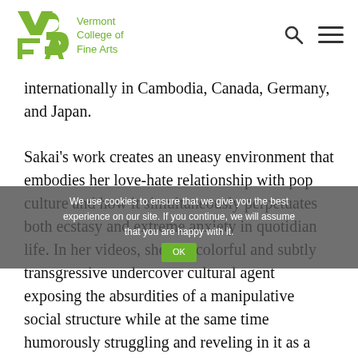Vermont College of Fine Arts
internationally in Cambodia, Canada, Germany, and Japan.
Sakai's work creates an uneasy environment that embodies her love-hate relationship with pop culture and how it simultaneously perpetuates both ecstasy and extreme anxiety in quotidian life. In her videos, she is a colorful and subtly transgressive undercover cultural agent exposing the absurdities of a manipulative social structure while at the same time humorously struggling and reveling in it as a participant, negotiating contemporary social issues of cultural identity, gender roles, and familial and personal relationships. She induces intimate situations between her created personalities and the audience via her videos and installations that are pushed to exaggerated and imaginative levels. Her work